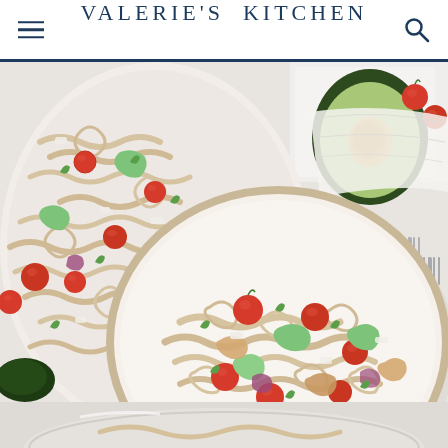VALERIE'S KITCHEN
[Figure (photo): Overhead food photography showing pasta salad with rotini pasta, cherry tomatoes, avocado, red onion, feta cheese and herbs in a large bowl and on a plate, with avocado halves, cherry tomatoes, forks and a white cloth napkin on a white surface]
[Figure (photo): Partial view of pasta salad in a glass bowl at the bottom of the frame]